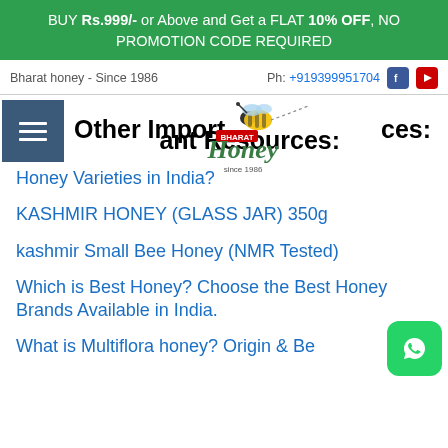BUY Rs.999/- or Above and Get a FLAT 10% OFF, NO PROMOTION CODE REQUIRED
Bharat honey - Since 1986 | Ph: +919399951704
[Figure (logo): Bharat Honey logo with bee illustration and 'since 1986' tagline]
Other Important Resources:
Honey Varieties in India?
KASHMIR HONEY (GLASS JAR) 350g
kashmir Small Bee Honey (NMR Tested)
Which is Best Honey? Choose the Best Honey Brands Available in India.
What is Multiflora honey? Origin & Benefits